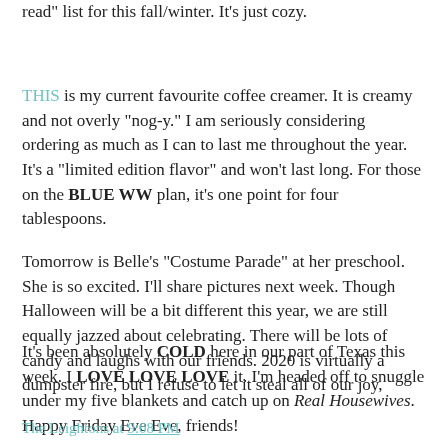read" list for this fall/winter. It's just cozy.
THIS is my current favourite coffee creamer. It is creamy and not overly "nog-y." I am seriously considering ordering as much as I can to last me throughout the year. It's a "limited edition flavor" and won't last long. For those on the BLUE WW plan, it's one point for four tablespoons.
Tomorrow is Belle's "Costume Parade" at her preschool. She is so excited. I'll share pictures next week. Though Halloween will be a bit different this year, we are still equally jazzed about celebrating. There will be lots of candy and laughs with our friends. 2020 is virtually a dumpster fire, but I refuse to let it steal all of our joy,
It's been absolutely COLD here in our part of Texas this week. I LOVE LOVE LOVE it. I'm headed off to snuggle under my five blankets and catch up on Real Housewives. Happy Friday Eve Eve, friends!
The Leightons at 9:08 PM